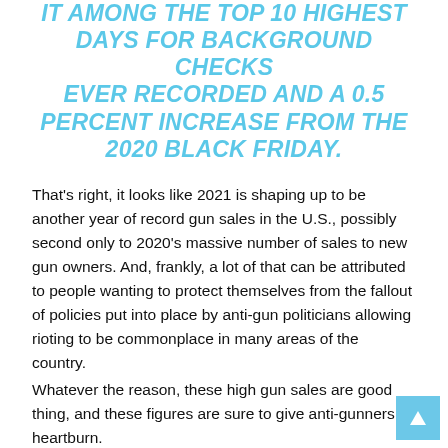IT AMONG THE TOP 10 HIGHEST DAYS FOR BACKGROUND CHECKS EVER RECORDED AND A 0.5 PERCENT INCREASE FROM THE 2020 BLACK FRIDAY.
That's right, it looks like 2021 is shaping up to be another year of record gun sales in the U.S., possibly second only to 2020's massive number of sales to new gun owners. And, frankly, a lot of that can be attributed to people wanting to protect themselves from the fallout of policies put into place by anti-gun politicians allowing rioting to be commonplace in many areas of the country.
Whatever the reason, these high gun sales are good thing, and these figures are sure to give anti-gunners heartburn.